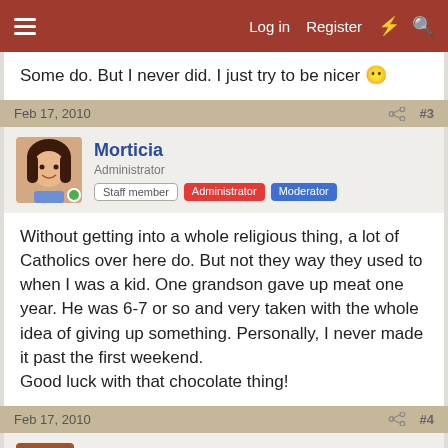Log in  Register
Some do. But I never did. I just try to be nicer 😶
Feb 17, 2010  #3
Morticia
Administrator  Staff member  Administrator  Moderator
Without getting into a whole religious thing, a lot of Catholics over here do. But not they way they used to when I was a kid. One grandson gave up meat one year. He was 6-7 or so and very taken with the whole idea of giving up something. Personally, I never made it past the first weekend.
Good luck with that chocolate thing!
Feb 17, 2010  #4
EmptyNest